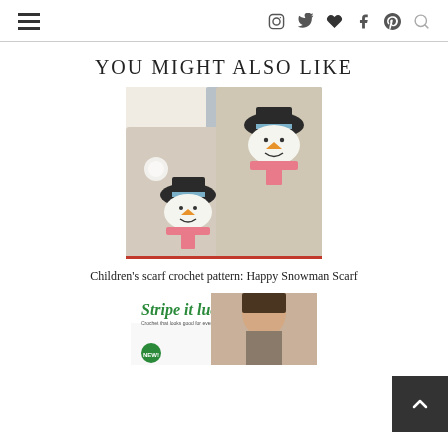Navigation header with hamburger menu and social icons
YOU MIGHT ALSO LIKE
[Figure (photo): A crochet children's scarf with snowman faces wearing hats, showing two folded ends of a beige/cream colored scarf with cross-stitch snowman designs featuring blue hats, orange carrot noses, and pink scarves.]
Children's scarf crochet pattern: Happy Snowman Scarf
[Figure (photo): Partially visible magazine cover showing 'Stripe it lucky' text with a woman's photo, cut off at the bottom of the page.]